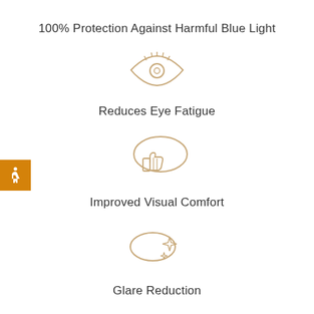100% Protection Against Harmful Blue Light
[Figure (illustration): Eye icon with eyelash detail, drawn in tan/gold outline style]
Reduces Eye Fatigue
[Figure (illustration): Thumbs up icon inside a speech bubble outline, drawn in tan/gold outline style]
Improved Visual Comfort
[Figure (illustration): Eye/lens shape with sparkle/star icons inside, drawn in tan/gold outline style]
Glare Reduction
[Figure (logo): ACUITY HD POLARIZED logo — ACUITY in blue, HD in green/purple, POLARIZED in blue bold]
[Figure (illustration): Orange accessibility wheelchair icon badge on left edge]